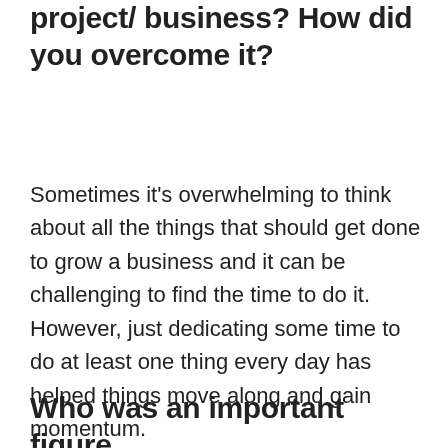project/ business? How did you overcome it?
Sometimes it’s overwhelming to think about all the things that should get done to grow a business and it can be challenging to find the time to do it. However, just dedicating some time to do at least one thing every day has helped things move along and gain momentum.
Who was an important figure